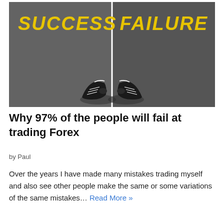[Figure (photo): Overhead view of asphalt road split by a white line, with 'SUCCESS' on the left and 'FAILURE' on the right in bold yellow letters, and a pair of sneakers straddling the dividing line at the bottom.]
Why 97% of the people will fail at trading Forex
by Paul
Over the years I have made many mistakes trading myself and also see other people make the same or some variations of the same mistakes… Read More »